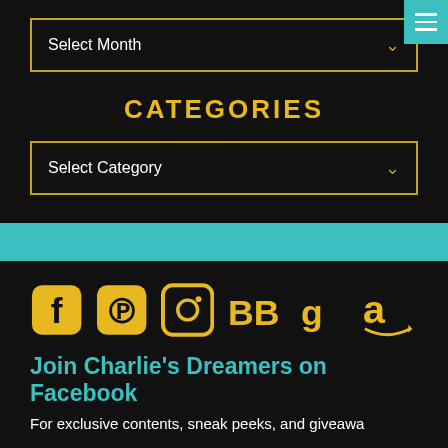[Figure (screenshot): Select Month dropdown box with gold border on dark background, with teal menu hamburger button top right]
CATEGORIES
[Figure (screenshot): Select Category dropdown box with gold border on dark background]
[Figure (infographic): Teal horizontal banner bar]
[Figure (infographic): Social media icons row: Facebook, Pinterest, Instagram, BookBub, Goodreads, Amazon - all in gold/yellow color]
Join Charlie’s Dreamers on Facebook
For exclusive contents, sneak peeks, and giveawa
JOIN HERE